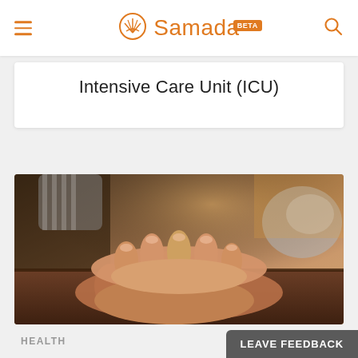Samada BETA
Intensive Care Unit (ICU)
[Figure (photo): Close-up photo of two sets of hands holding each other on a wooden table surface, suggesting comfort and care.]
HEALTH
LEAVE FEEDBACK